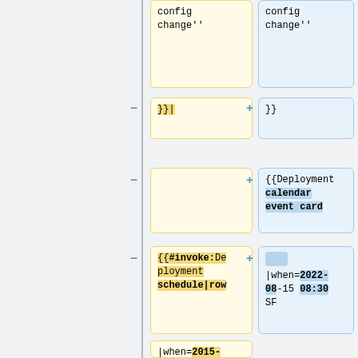[Figure (screenshot): Diff view showing two columns of wiki template code changes. Left column (yellow, removed) and right column (blue, added). Rows show: config change'' / }}| vs }}, blank vs {{Deployment calendar event card, {{#invoke:Deployment schedule|row vs |when=2022-08-15 08:30 SF, |when=2015-12-15 4:00 SF vs |length=0.5, |length=1 vs |window=Wikimedia Portals Update]